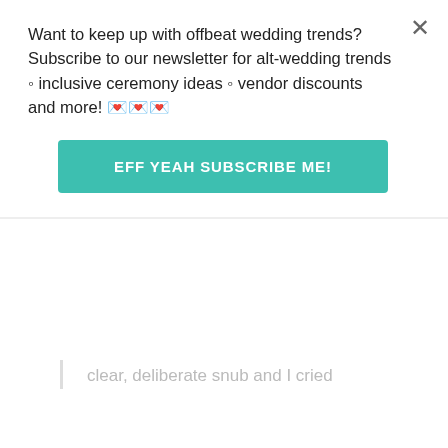snubs. I know you don't see it this way but I do. I think on this we'll have to agree to differ.
Sincerely,
Me
Want to keep up with offbeat wedding trends?Subscribe to our newsletter for alt-wedding trends • inclusive ceremony ideas • vendor discounts and more! 💌💌💌
EFF YEAH SUBSCRIBE ME!
Kelly says:
Jun. 22, 2016 at 4:29 pm
This happened to me. I was the only one of a circle of friends not invited and I didn't even know the bride was upset with me. It was a clear, deliberate snub and I cried